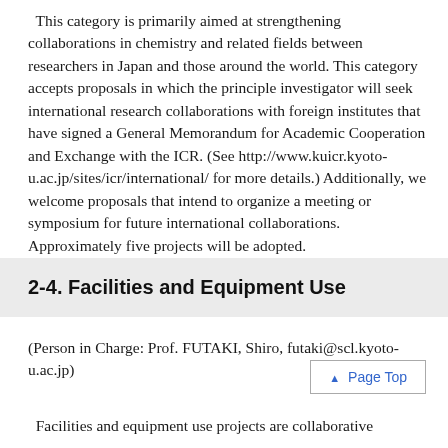This category is primarily aimed at strengthening collaborations in chemistry and related fields between researchers in Japan and those around the world. This category accepts proposals in which the principle investigator will seek international research collaborations with foreign institutes that have signed a General Memorandum for Academic Cooperation and Exchange with the ICR. (See http://www.kuicr.kyoto-u.ac.jp/sites/icr/international/ for more details.) Additionally, we welcome proposals that intend to organize a meeting or symposium for future international collaborations. Approximately five projects will be adopted.
2-4. Facilities and Equipment Use
(Person in Charge: Prof. FUTAKI, Shiro, futaki@scl.kyoto-u.ac.jp)
Page Top
Facilities and equipment use projects are collaborative